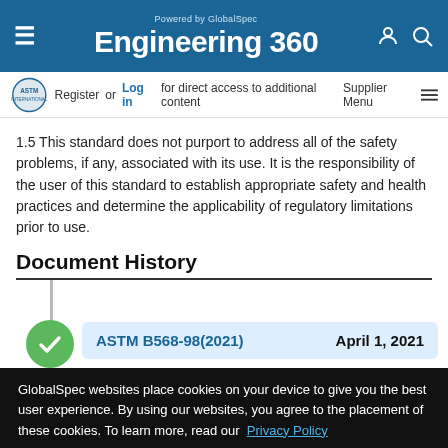Powered by GlobalSpec Engineering 360
Register or Log in for direct access to additional content  Supplier Menu
1.5 This standard does not purport to address all of the safety problems, if any, associated with its use. It is the responsibility of the user of this standard to establish appropriate safety and health practices and determine the applicability of regulatory limitations prior to use.
Document History
ASTM B568-98(2021)    April 1, 2021
GlobalSpec websites place cookies on your device to give you the best user experience. By using our websites, you agree to the placement of these cookies. To learn more, read our Privacy Policy